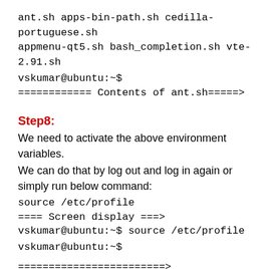ant.sh apps-bin-path.sh cedilla-portuguese.sh appmenu-qt5.sh bash_completion.sh vte-2.91.sh
vskumar@ubuntu:~$
============ Contents of ant.sh=====>
Step8:
We need to activate the above environment variables.
We can do that by log out and log in again or simply run below command:
source /etc/profile
==== Screen display ===>
vskumar@ubuntu:~$ source /etc/profile
vskumar@ubuntu:~$
========================>